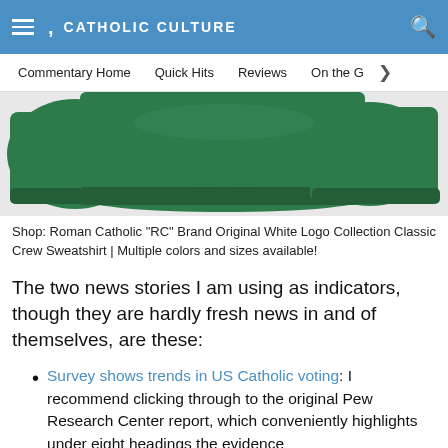CATHOLIC CULTURE
Commentary Home | Quick Hits | Reviews | On the C
[Figure (photo): Green classic crew sweatshirt product image showing the bottom hem and sleeves on a light grey background]
Shop: Roman Catholic "RC" Brand Original White Logo Collection Classic Crew Sweatshirt | Multiple colors and sizes available!
The two news stories I am using as indicators, though they are hardly fresh news in and of themselves, are these:
Survey shows trends in US Catholic voting: I recommend clicking through to the original Pew Research Center report, which conveniently highlights under eight headings the evidence